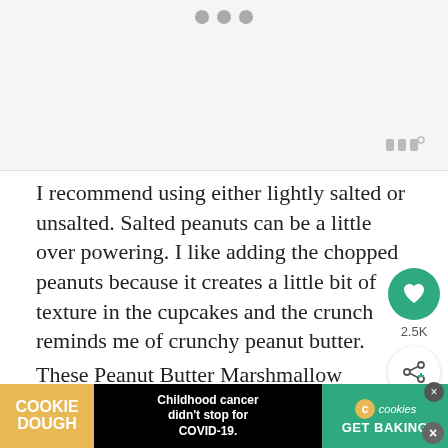[Figure (photo): Image placeholder with three dots at top indicating image carousel, and a watermark in bottom right]
I recommend using either lightly salted or unsalted. Salted peanuts can be a little over powering. I like adding the chopped peanuts because it creates a little bit of texture in the cupcakes and the crunch reminds me of crunchy peanut butter.
These Peanut Butter Marshmallow frosting can also be paired with other flavors of cupcakes like banana or cho...
[Figure (screenshot): Heart/like button showing 2.5K likes and a share button]
[Figure (screenshot): What's Next panel showing Slutty Brookie Icebox Cake]
[Figure (screenshot): Cookie Dough advertisement banner: Childhood cancer didn't stop for COVID-19. GET BAKING.]